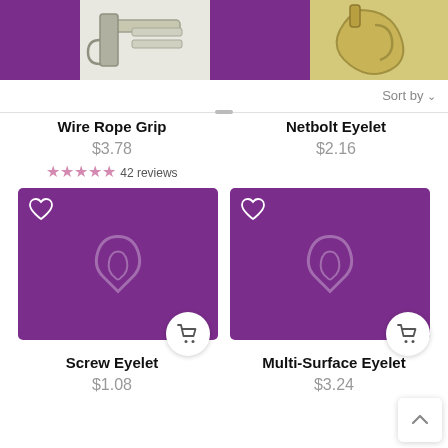[Figure (photo): Top banner with purple background showing hardware product photos: a wire rope grip on the left and a netbolt eyelet on the right]
Sort by ∨
Wire Rope Grip
$3.78
★★★★★ 42 reviews
Netbolt Eyelet
$2.16
[Figure (photo): Purple product card for Screw Eyelet with wishlist heart icon and add-to-cart button]
[Figure (photo): Purple product card for Multi-Surface Eyelet with wishlist heart icon and add-to-cart button]
Screw Eyelet
$1.08
Multi-Surface Eyelet
$3.24